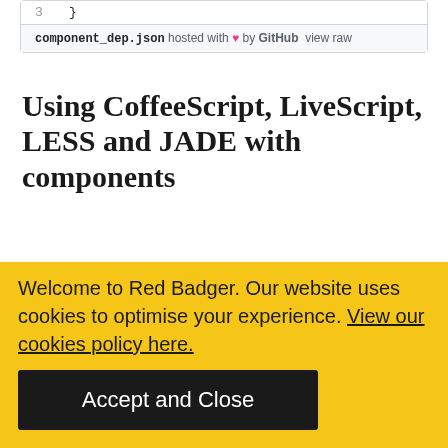[Figure (screenshot): Code snippet box showing line 3 with closing brace, and footer showing component_dep.json hosted with heart by GitHub view raw]
Using CoffeeScript, LiveScript, LESS and JADE with components
If you are going to release a public component, it make sense to package it with conventional JS/CSS/HTML files to reduce amount of dependencies and
Welcome to Red Badger. Our website uses cookies to optimise your experience. View our cookies policy here.
Accept and Close